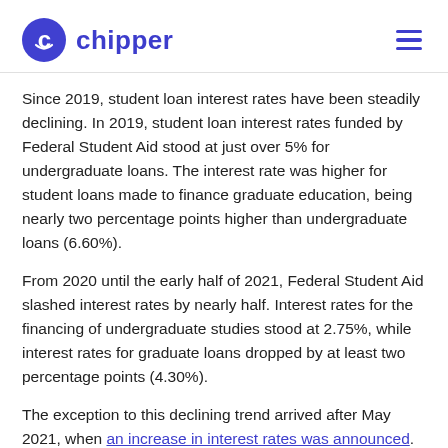chipper
Since 2019, student loan interest rates have been steadily declining. In 2019, student loan interest rates funded by Federal Student Aid stood at just over 5% for undergraduate loans. The interest rate was higher for student loans made to finance graduate education, being nearly two percentage points higher than undergraduate loans (6.60%).
From 2020 until the early half of 2021, Federal Student Aid slashed interest rates by nearly half. Interest rates for the financing of undergraduate studies stood at 2.75%, while interest rates for graduate loans dropped by at least two percentage points (4.30%).
The exception to this declining trend arrived after May 2021, when an increase in interest rates was announced.